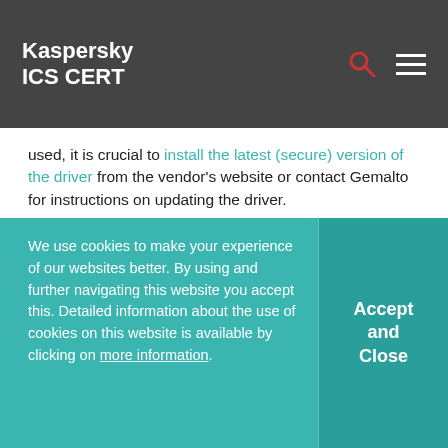Kaspersky ICS CERT
used, it is crucial to install the latest (secure) version of the driver from the vendor's website or contact Gemalto for instructions on updating the driver.
We also recommend closing port 1947, at least on the external firewall (on the network perimeter) – but only as long as this does not interfere with business processes. This will help to reduce the risk of the vulnerabilities being exploited.
We use cookies to make your experience of our websites better. By using and further navigating this website you accept this. Detailed information about the use of cookies on this website is available by clicking on more information.
Accept and Close